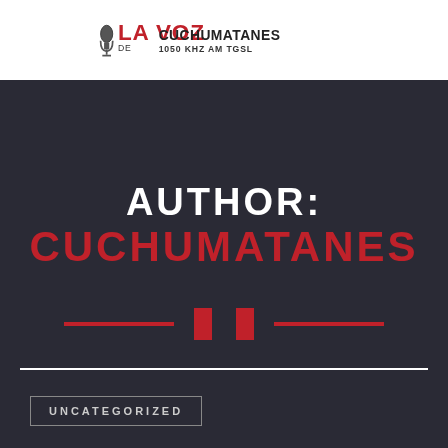[Figure (logo): LA VOZ DE CUCHUMATANES 1050 KHZ AM TGSL radio station logo with microphone icon]
AUTHOR: CUCHUMATANES
[Figure (other): Decorative red and dark divider with two vertical bars flanked by horizontal lines]
UNCATEGORIZED